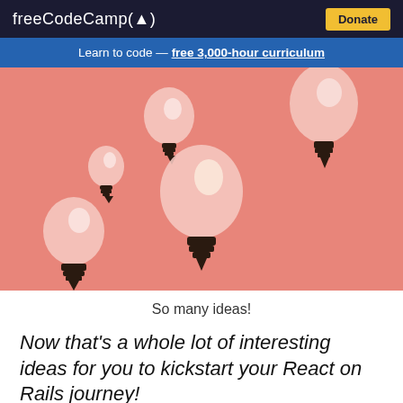freeCodeCamp(🔥)  Donate
Learn to code — free 3,000-hour curriculum
[Figure (illustration): Illustration of multiple light bulbs floating on a pink/salmon background, representing ideas.]
So many ideas!
Now that's a whole lot of interesting ideas for you to kickstart your React on Rails journey!